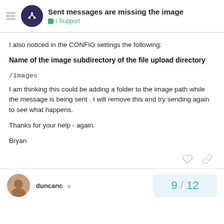Sent messages are missing the image — i Support
I also noticed in the CONFIG settings the following:
Name of the image subdirectory of the file upload directory
/images
I am thinking this could be adding a folder to the image path while the message is being sent . I will remove this and try sending again to see what happens.
Thanks for your help - again.
Bryan
duncanc  9 / 12